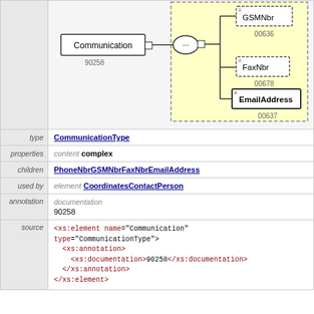[Figure (schematic): XML schema diagram showing Communication element connected via sequence connector to GSMNbr (00636), FaxNbr (00678), and EmailAddress (00637) elements in a yellow dashed group box. Communication has code 90258.]
| type | CommunicationType |
| properties | content complex |
| children | PhoneNbrGSMNbrFaxNbrEmailAddress |
| used by | element CoordinatesContactPerson |
| annotation | documentation
90258 |
| source | <xs:element name="Communication" type="CommunicationType">
  <xs:annotation>
    <xs:documentation>90258</xs:documentation>
  </xs:annotation>
</xs:element> |